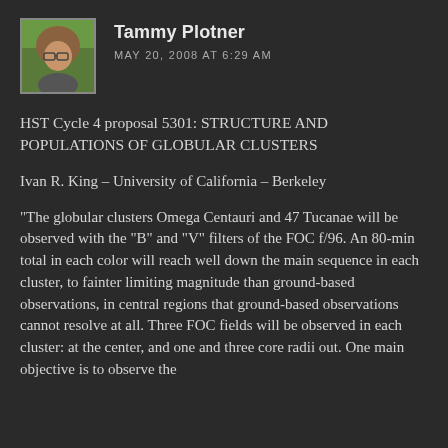[Figure (photo): Headshot photo of Tammy Plotner, a woman with long hair, outdoors with a green background]
Tammy Plotner
MAY 20, 2008 AT 6:29 AM
HST Cycle 4 proposal 5301: STRUCTURE AND POPULATIONS OF GLOBULAR CLUSTERS
Ivan R. King – University of California – Berkeley
“The globular clusters Omega Centauri and 47 Tucanae will be observed with the “B” and “V” filters of the FOC f/96. An 80-min total in each color will reach well down the main sequence in each cluster, to fainter limiting magnitude than ground-based observations, in central regions that ground-based observations cannot resolve at all. Three FOC fields will be observed in each cluster: at the center, and one and three core radii out. One main objective is to observe the